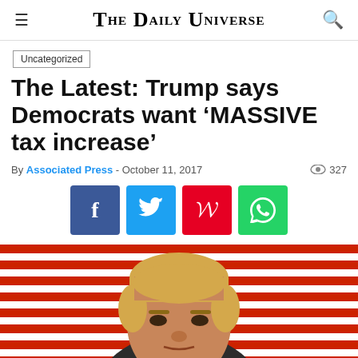The Daily Universe
Uncategorized
The Latest: Trump says Democrats want ‘MASSIVE tax increase’
By Associated Press - October 11, 2017  ◉ 327
[Figure (other): Social media share buttons: Facebook, Twitter, Pinterest, WhatsApp]
[Figure (photo): Photo of Donald Trump in front of a red and white American flag background]